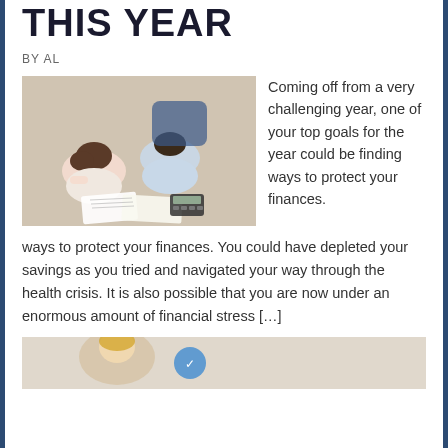THIS YEAR
BY AL
[Figure (photo): Overhead view of a man and woman lying on a carpet floor, both stressed, looking at financial documents and a calculator spread out in front of them.]
Coming off from a very challenging year, one of your top goals for the year could be finding ways to protect your finances. You could have depleted your savings as you tried and navigated your way through the health crisis. It is also possible that you are now under an enormous amount of financial stress […]
[Figure (photo): Partial view of another image at the bottom of the page, partially cropped.]